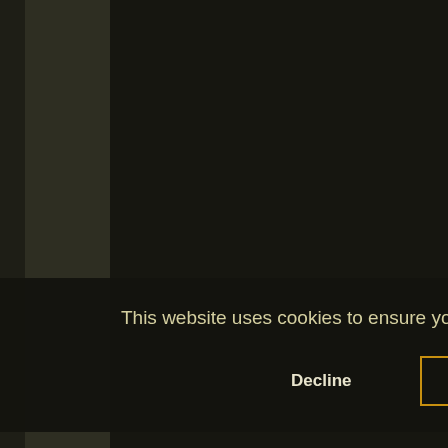[Figure (screenshot): Screenshot of a trading card website (MTG card database) showing Island cards with blue water-drop mana symbols. Dark brown/olive background with card thumbnails on the right panel. Cards show island artwork - tropical/rocky coastlines.]
This website uses cookies to ensure you get the best experience on our website.
Decline
Allow cookies